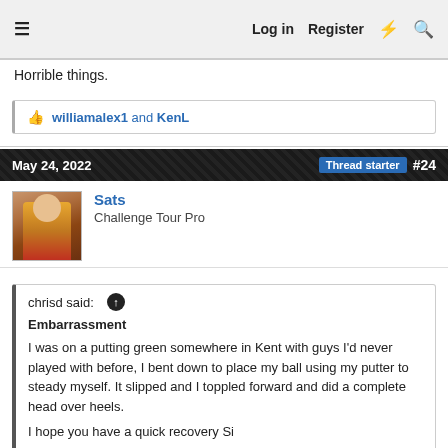Log in  Register
Horrible things.
👍 williamalex1 and KenL
May 24, 2022  Thread starter  #24
Sats
Challenge Tour Pro
chrisd said: ↑

Embarrassment

I was on a putting green somewhere in Kent with guys I'd never played with before, I bent down to place my ball using my putter to steady myself. It slipped and I toppled forward and did a complete head over heels.

I hope you have a quick recovery Si